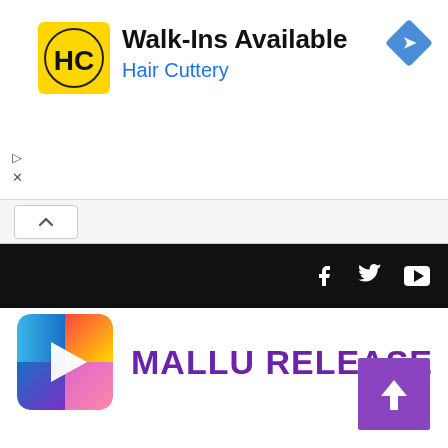[Figure (infographic): Advertisement banner for Hair Cuttery: yellow circular logo with HC initials, title 'Walk-Ins Available', subtitle 'Hair Cuttery', blue navigation diamond icon top right, play/close icons bottom left]
[Figure (screenshot): Collapse/accordion bar with upward caret button]
[Figure (screenshot): Black navigation bar with white Facebook, Twitter, and YouTube icons on the right side]
[Figure (logo): Mallu Release logo: colorful play button icon (blue, red, yellow, purple gradient square with white play triangle) next to bold purple text 'MALLU RELEASE']
[Figure (infographic): Purple scroll-to-top button with white upward arrow in bottom right corner]